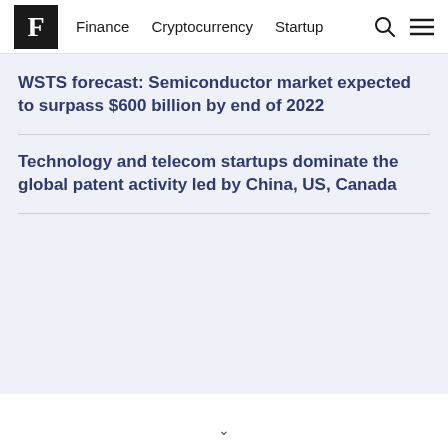F | Finance | Cryptocurrency | Startup
WSTS forecast: Semiconductor market expected to surpass $600 billion by end of 2022
Technology and telecom startups dominate the global patent activity led by China, US, Canada